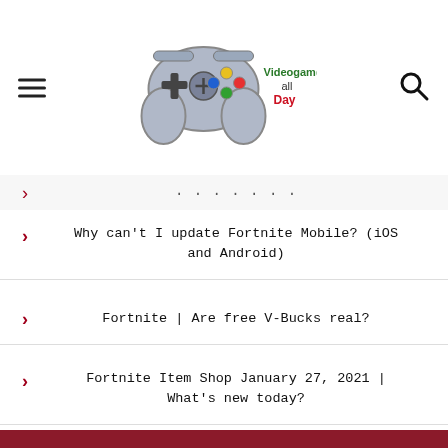Videogames all Day — site logo and navigation
Why can't I update Fortnite Mobile? (iOS and Android)
Fortnite | Are free V-Bucks real?
Fortnite Item Shop January 27, 2021 | What's new today?
About
Terms and conditions
Cookie Policy
Who we are